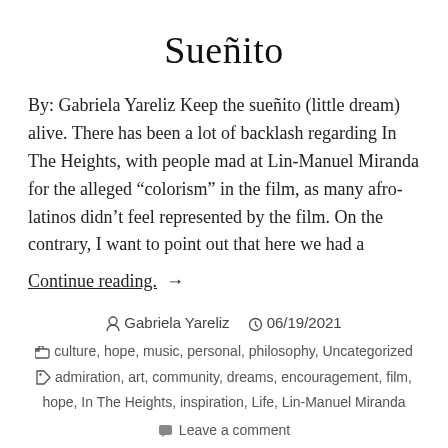Sueñito
By: Gabriela Yareliz Keep the sueñito (little dream) alive. There has been a lot of backlash regarding In The Heights, with people mad at Lin-Manuel Miranda for the alleged “colorism” in the film, as many afro-latinos didn’t feel represented by the film. On the contrary, I want to point out that here we had a
Continue reading. →
Gabriela Yareliz   06/19/2021
culture, hope, music, personal, philosophy, Uncategorized
admiration, art, community, dreams, encouragement, film, hope, In The Heights, inspiration, Life, Lin-Manuel Miranda
Leave a comment